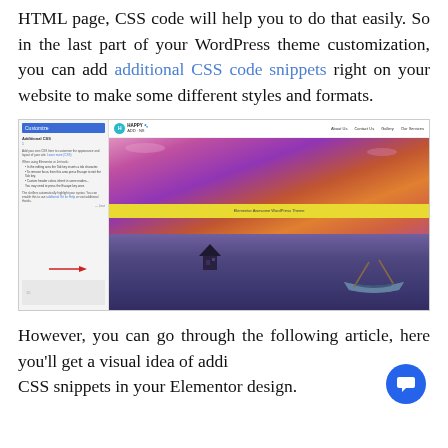HTML page, CSS code will help you to do that easily. So in the last part of your WordPress theme customization, you can add additional CSS code snippets right on your website to make some different styles and formats.
[Figure (screenshot): Screenshot of a WordPress/Elementor page builder interface showing the Happy Addons website with a scenic boat-on-water hero image and a CSS customization panel on the left.]
However, you can go through the following article, here you'll get a visual idea of adding CSS snippets in your Elementor design.